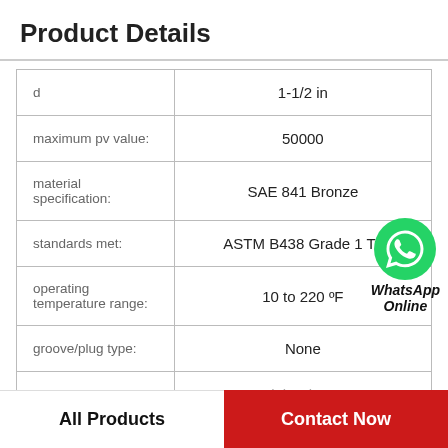Product Details
|  |  |
| --- | --- |
| d | 1-1/2 in |
| maximum pv value: | 50000 |
| material specification: | SAE 841 Bronze |
| standards met: | ASTM B438 Grade 1 Ty |
| operating temperature range: | 10 to 220 °F |
| groove/plug type: | None |
| sleeve bearing type: | Plain Sleeve |
All Products   Contact Now